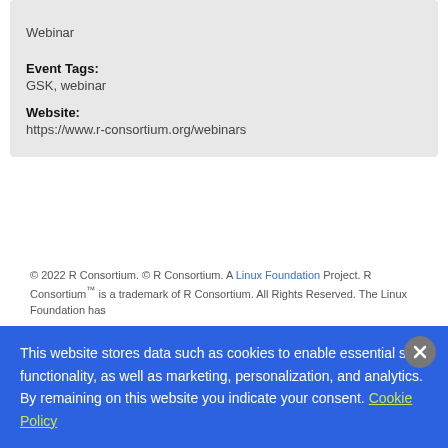Webinar
Event Tags:
GSK, webinar
Website:
https://www.r-consortium.org/webinars
© 2022 R Consortium. © R Consortium. A Linux Foundation Project. R Consortium™ is a trademark of R Consortium. All Rights Reserved. The Linux Foundation has
This website stores data such as cookies to enable essential site functionality, as well as marketing, personalization, and analytics. By remaining on this website you indicate your consent. Cookie Policy